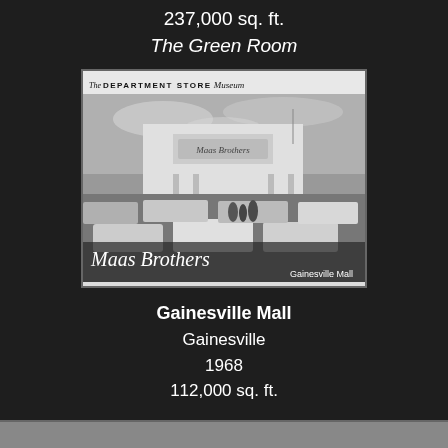237,000 sq. ft.
The Green Room
[Figure (photo): Black and white photo of Maas Brothers department store at Gainesville Mall, with cars in the parking lot. Header reads 'The Department Store Museum'. Caption reads 'Maas Brothers / Gainesville Mall'.]
Gainesville Mall
Gainesville
1968
112,000 sq. ft.